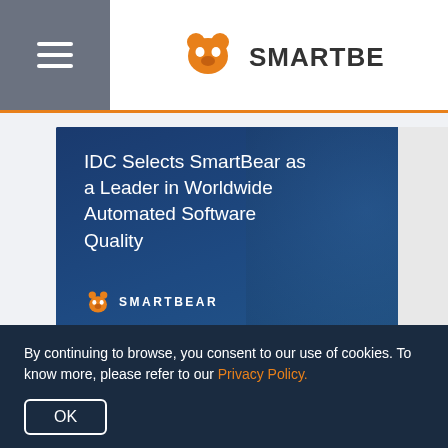SmartBear
[Figure (screenshot): SmartBear promotional banner with text: IDC Selects SmartBear as a Leader in Worldwide Automated Software Quality, with SmartBear logo on dark blue background with person in background]
IDC Selects SmartBear as a Leader in Worldwide Automated Software
By continuing to browse, you consent to our use of cookies. To know more, please refer to our Privacy Policy.
OK